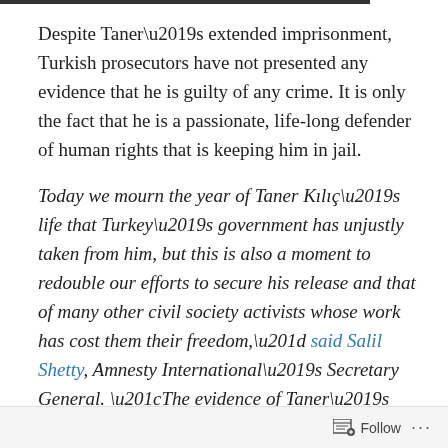Despite Taner’s extended imprisonment, Turkish prosecutors have not presented any evidence that he is guilty of any crime. It is only the fact that he is a passionate, life-long defender of human rights that is keeping him in jail.
Today we mourn the year of Taner Kılıç’s life that Turkey’s government has unjustly taken from him, but this is also a moment to redouble our efforts to secure his release and that of many other civil society activists whose work has cost them their freedom,” said Salil Shetty, Amnesty International’s Secretary General. “The evidence of Taner’s innocence is emphatic. His detention is a gross